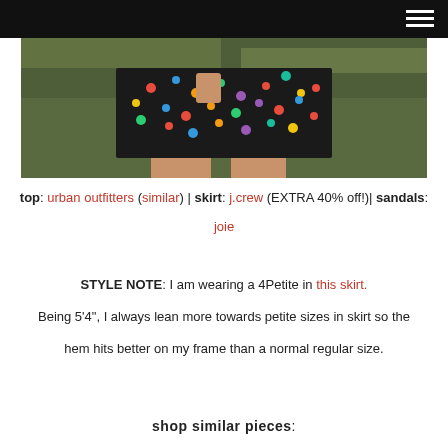[Figure (photo): Fashion photo showing lower half of person wearing a colorful polka-dot skirt outdoors on grass]
top: urban outfitters (similar) | skirt: j.crew (EXTRA 40% off!)| sandals: joie
STYLE NOTE: I am wearing a 4Petite in this skirt. Being 5'4", I always lean more towards petite sizes in skirt so the hem hits better on my frame than a normal regular size.
shop similar pieces: